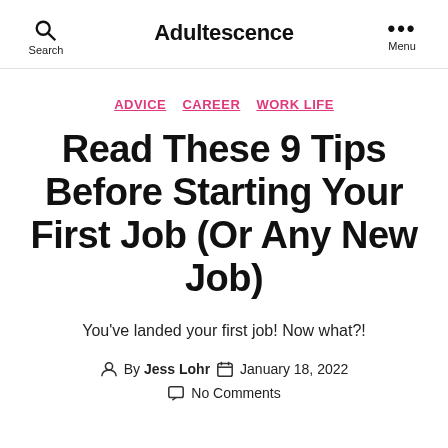Adultescence | Search | Menu
ADVICE  CAREER  WORK LIFE
Read These 9 Tips Before Starting Your First Job (Or Any New Job)
You've landed your first job! Now what?!
By Jess Lohr  January 18, 2022  No Comments